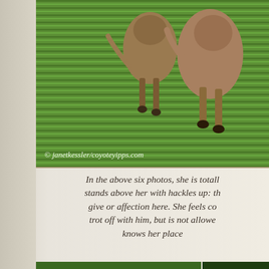[Figure (photo): Two coyotes on a green grass field, viewed from behind. Watermark reads: © janetkessler/coyoteyipps.com]
In the above six photos, she is totally stands above her with hackles up: th give or affection here. She feels co trot off with him, but is not allowe knows her place
[Figure (photo): Two photos of coyotes among dense green foliage and branches]